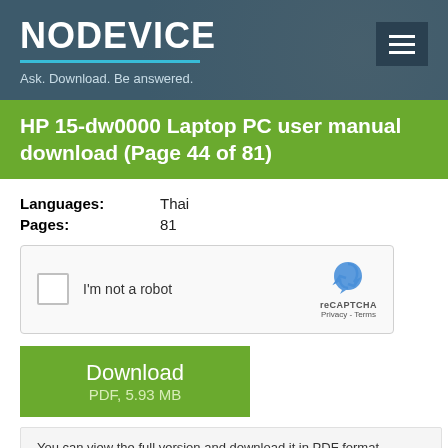NODEVICE
Ask. Download. Be answered.
HP 15-dw0000 Laptop PC user manual download (Page 44 of 81)
Languages: Thai
Pages: 81
[Figure (screenshot): reCAPTCHA widget with checkbox labeled 'I'm not a robot']
Download
PDF, 5.93 MB
You can view the full version and download it in PDF format.